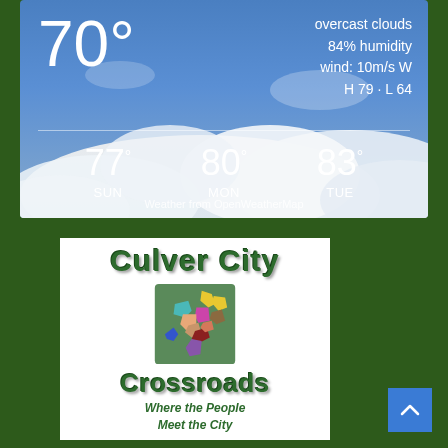[Figure (screenshot): Weather widget showing current temperature 70°, overcast clouds, 84% humidity, wind 10m/s W, H 79 · L 64, with 3-day forecast: SUN 77°, MON 80°, TUE 83°. Attribution: Weather from OpenWeatherMap. Background is a blue cloudy sky.]
[Figure (logo): Culver City Crossroads logo. Green 3D bold text 'Culver City' at top, colorful map of Culver City neighborhoods in the center, green 3D bold text 'Crossroads' below, and tagline 'Where the People Meet the City' at the bottom. White background.]